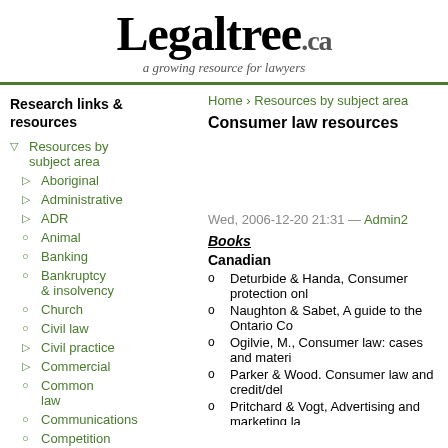Legaltree.ca — a growing resource for lawyers
Home › Resources by subject area
Consumer law resources
Research links & resources
▽ Resources by subject area
▷ Aboriginal
▷ Administrative
▷ ADR
○ Animal
○ Banking
○ Bankruptcy & insolvency
○ Church
○ Civil law
▷ Civil practice
▷ Commercial
○ Common law
○ Communications
○ Competition
Wed, 2006-12-20 21:31 — Admin2
Books
Canadian
o Deturbide & Handa, Consumer protection onl
o Naughton & Sabet, A guide to the Ontario Co
o Ogilvie, M., Consumer law: cases and materi
o Parker & Wood. Consumer law and credit/del
o Pritchard & Vogt, Advertising and marketing la
o * Young & Fraser, Canadian Marketing and A